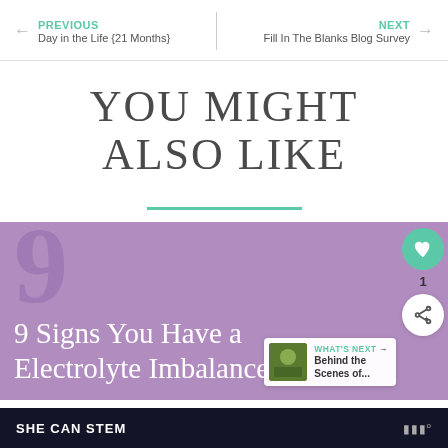PREVIOUS Day in the Life {21 Months} | NEXT Fill In The Blanks Blog Survey
YOU MIGHT ALSO LIKE
[Figure (screenshot): Blog post card with purple background showing number 9 and text '9 Signs You Have a Electrolyte Imbalance'. Overlaid UI elements: heart button (teal), share button, count '1', and 'WHAT'S NEXT' overlay showing 'Behind the Scenes of...' with a thumbnail.]
SHE CAN STEM